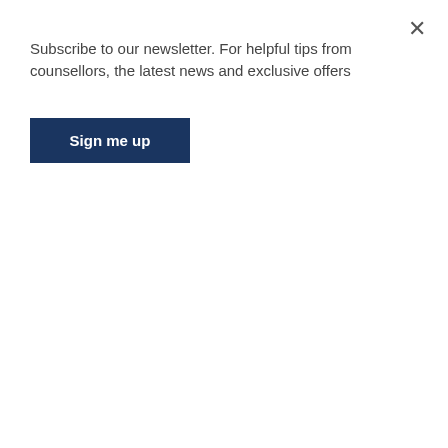Subscribe to our newsletter. For helpful tips from counsellors, the latest news and exclusive offers
Sign me up
expressive, non-verbal, creative approach that can be used with people of all ages.
Sand tray pictures can be reflective, self-expressive and represent many aspects of life such as people, ideas, situations, and feelings. They can also symbolise a person's "inner world". People can become more aware of their unconscious and of any current difficulties in their life.
Previously unknown thoughts and feelings may emerge and become visible through the imagery and symbolic approach that is applied. This can